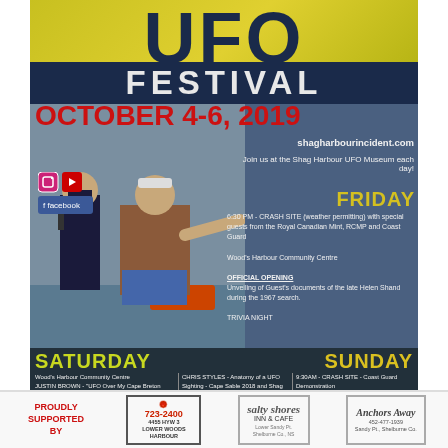UFO FESTIVAL
OCTOBER 4-6, 2019
shagharbourincident.com
Join us at the Shag Harbour UFO Museum each day!
[Figure (photo): Two people standing outdoors, one in police uniform holding microphone, another in casual clothes pointing, with a boat in background water scene]
FRIDAY
6:30 PM - CRASH SITE (weather permitting) with special guests from the Royal Canadian Mint, RCMP and Coast Guard

Wood's Harbour Community Centre

OFFICIAL OPENING
Unveiling of Guest's documents of the late Helen Shand during the 1967 search.

TRIVIA NIGHT
SATURDAY
SUNDAY
Wood's Harbour Community Centre
JUSTIN BROWN - "UFO Over My Cape Breton Home"
JORDAN BONAPARTE - Family Secrets, Curiosity & UFOs
STEVE MACLEAN - UFOs A Nova Scotia Perspective
CHRIS STYLES - Anatomy of a UFO Sighting - Cape Sable 2018 and Shag Harbour 1967
DARRYLL WALSH & CORP, ELLIOT VAN DUSEN - Kitchen Sink Syndrome
special guests from the Royal Canadian Mint - Sarah Chesuik & Christa Bruce
& LOCAL UFO EYE WITNESSES
9:30AM - CRASH SITE - Coast Guard Demonstration
TOUR - CRASH SITE, CAPE SABLE ISLAND and GOVERNMENT POINT, SANDY POINT
PROUDLY SUPPORTED BY
723-2400
4455 HYW 3
LOWER WOODS HARBOUR
salty shores INN & CAFE
Anchors Away